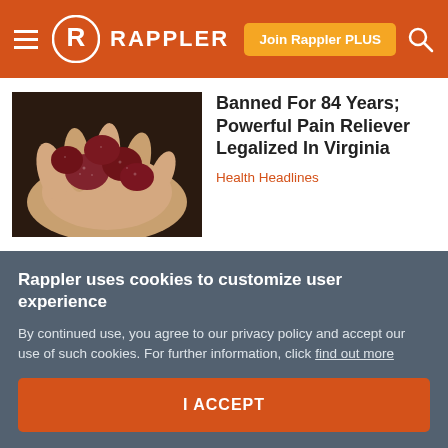RAPPLER — Join Rappler PLUS
[Figure (photo): A hand holding several dark red sugary gummy candies]
Banned For 84 Years; Powerful Pain Reliever Legalized In Virginia
Health Headlines
Leave a comment ˅
Rappler uses cookies to customize user experience
By continued use, you agree to our privacy policy and accept our use of such cookies. For further information, click find out more
I ACCEPT